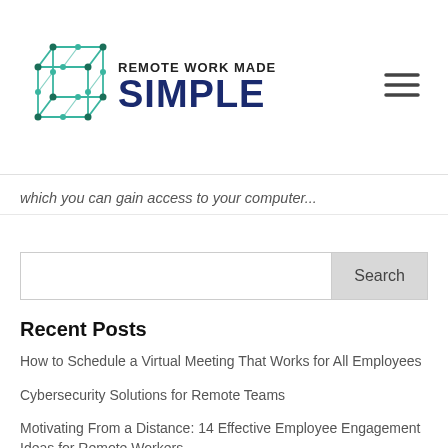[Figure (logo): Remote Work Made Simple logo with a cube/lattice icon in green and blue, and text 'REMOTE WORK MADE SIMPLE' in dark blue/navy]
which you can gain access to your computer...
Search
Recent Posts
How to Schedule a Virtual Meeting That Works for All Employees
Cybersecurity Solutions for Remote Teams
Motivating From a Distance: 14 Effective Employee Engagement Ideas for Remote Workers
How to Host Productive Remote Meetings